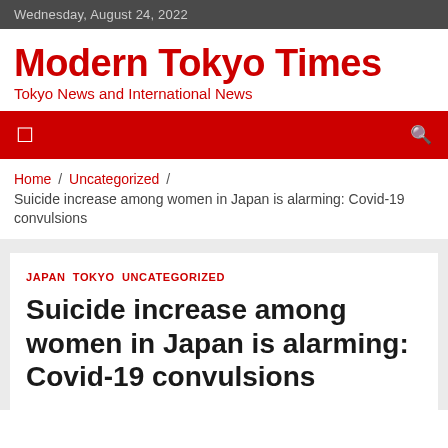Wednesday, August 24, 2022
Modern Tokyo Times
Tokyo News and International News
breadcrumb nav bar with menu icon and search icon
Home / Uncategorized / Suicide increase among women in Japan is alarming: Covid-19 convulsions
JAPAN  TOKYO  UNCATEGORIZED
Suicide increase among women in Japan is alarming: Covid-19 convulsions